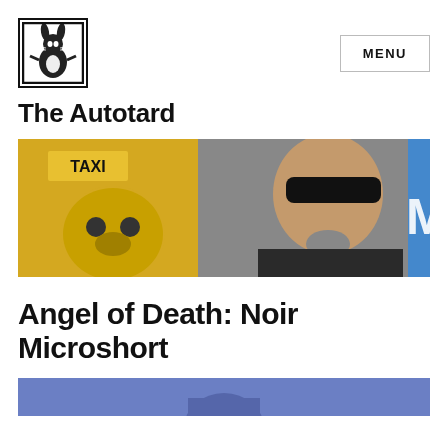[Figure (logo): The Autotard logo: black and white illustration of a rabbit/hare in a square border]
MENU
The Autotard
[Figure (photo): A man with sunglasses and goatee near a yellow taxi with a panda mascot head visible]
Angel of Death: Noir Microshort
[Figure (photo): Partial blue-toned photo at bottom of page, likely a person]